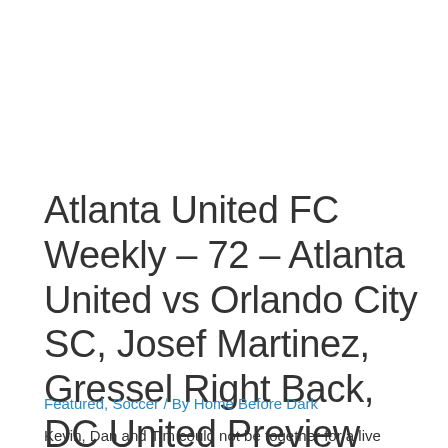Atlanta United FC Weekly – 72 – Atlanta United vs Orlando City SC, Josef Martinez, Gressel Right Back, DC United Preview
Featured, Soccer / By Home Before Dark
Kevin, Dan and Tim could not be together for a live recording on Monday...